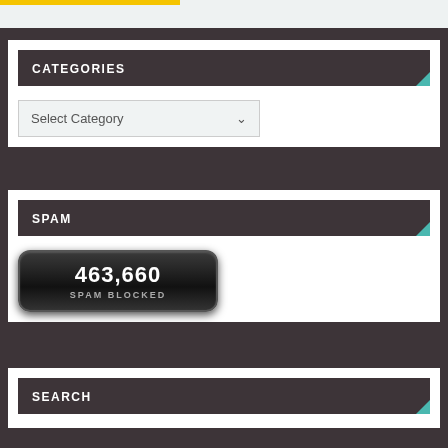CATEGORIES
Select Category
SPAM
463,660 SPAM BLOCKED
SEARCH